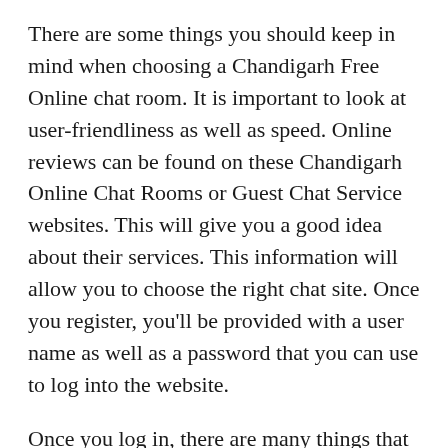There are some things you should keep in mind when choosing a Chandigarh Free Online chat room. It is important to look at user-friendliness as well as speed. Online reviews can be found on these Chandigarh Online Chat Rooms or Guest Chat Service websites. This will give you a good idea about their services. This information will allow you to choose the right chat site. Once you register, you'll be provided with a user name as well as a password that you can use to log into the website.
Once you log in, there are many things that can be done to your account, like sharing pictures and sending messages. The chatting community of Chandigarh is very big and there are many other people who are also new in this city. When you first join, there are lots of friends that you can (th...